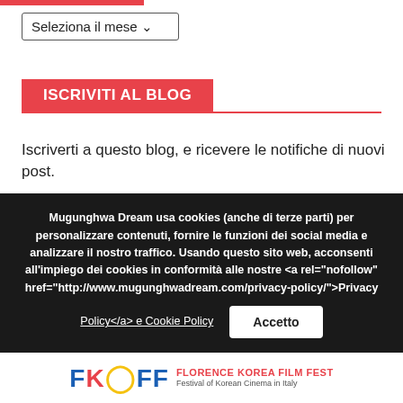Seleziona il mese
ISCRIVITI AL BLOG
Iscriverti a questo blog, e ricevere le notifiche di nuovi post.
Indirizzo e-mail
Iscriviti
Mugunghwa Dream usa cookies (anche di terze parti) per personalizzare contenuti, fornire le funzioni dei social media e analizzare il nostro traffico. Usando questo sito web, acconsenti all'impiego dei cookies in conformità alle nostre <a rel="nofollow" href="http://www.mugunghwadream.com/privacy-policy/">Privacy Policy</a> e Cookie Policy
Accetto
FKOFF FLORENCE KOREA FILM FEST Festival of Korean Cinema in Italy